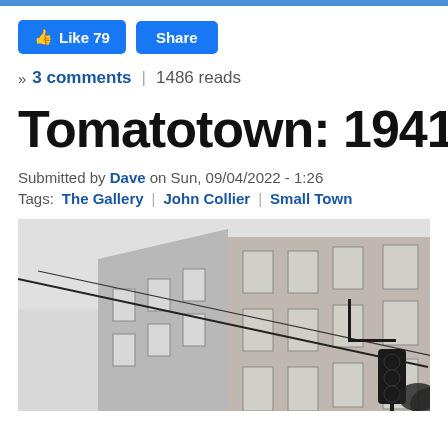Like 79  Share
» 3 comments | 1486 reads
Tomatotown: 1941
Submitted by Dave on Sun, 09/04/2022 - 1:26
Tags: The Gallery | John Collier | Small Town
[Figure (photo): Black and white photograph of a multi-story brick building with rectangular windows, a diagonal wire/cable across the scene, and a traffic light silhouette visible at the lower right. The building appears to be a small-town commercial or residential structure, circa 1941.]